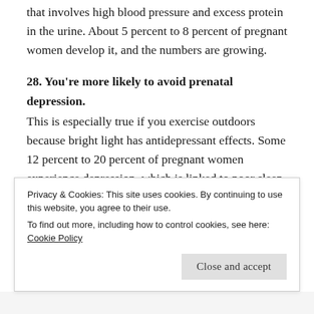that involves high blood pressure and excess protein in the urine. About 5 percent to 8 percent of pregnant women develop it, and the numbers are growing.
28. You're more likely to avoid prenatal depression.
This is especially true if you exercise outdoors because bright light has antidepressant effects. Some 12 percent to 20 percent of pregnant women experience depression, which is linked to poor sleep and marital problems after delivery.
29. You feel more in control. When your body is
Privacy & Cookies: This site uses cookies. By continuing to use this website, you agree to their use.
To find out more, including how to control cookies, see here:
Cookie Policy
Close and accept